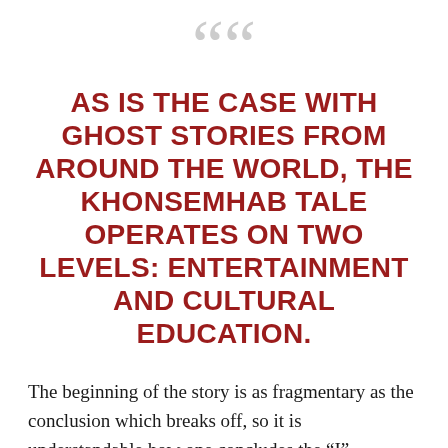““
AS IS THE CASE WITH GHOST STORIES FROM AROUND THE WORLD, THE KHONSEMHAB TALE OPERATES ON TWO LEVELS: ENTERTAINMENT AND CULTURAL EDUCATION.
The beginning of the story is as fragmentary as the conclusion which breaks off, so it is understandable how one concludes the "I" mentioned at the start indicates first-person narration. The story makes more sense as third-person omniscient narration, however, as no first-